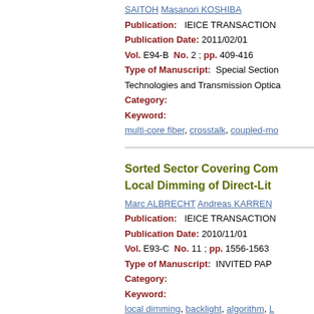SAITOH Masanori KOSHIBA
Publication:   IEICE TRANSACTION
Publication Date: 2011/02/01
Vol. E94-B  No. 2 ; pp. 409-416
Type of Manuscript:  Special Section
Technologies and Transmission Optica
Category:
Keyword:
multi-core fiber, crosstalk, coupled-mo
Sorted Sector Covering Com Local Dimming of Direct-Lit
Marc ALBRECHT Andreas KARREN
Publication:   IEICE TRANSACTION
Publication Date: 2010/11/01
Vol. E93-C  No. 11 ; pp. 1556-1563
Type of Manuscript:  INVITED PAP
Category:
Keyword:
local dimming, backlight, algorithm, L
LEDs, crosstalk, optimization, high po